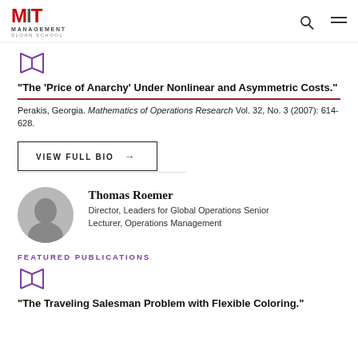MIT Management Sloan School
[Figure (illustration): Book/publication icon in purple outline]
"The 'Price of Anarchy' Under Nonlinear and Asymmetric Costs."
Perakis, Georgia. Mathematics of Operations Research Vol. 32, No. 3 (2007): 614-628.
VIEW FULL BIO →
[Figure (photo): Headshot photo of Thomas Roemer, a smiling bald man in dark clothing, circular crop]
Thomas Roemer
Director, Leaders for Global Operations Senior Lecturer, Operations Management
FEATURED PUBLICATIONS
[Figure (illustration): Open book/publication icon in purple outline]
"The Traveling Salesman Problem with Flexible Coloring."